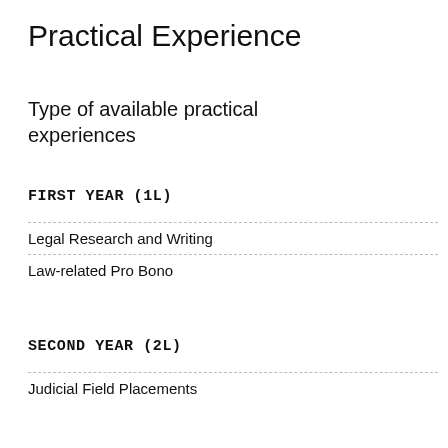Practical Experience
Type of available practical experiences
FIRST YEAR (1L)
Legal Research and Writing
Law-related Pro Bono
SECOND YEAR (2L)
Judicial Field Placements